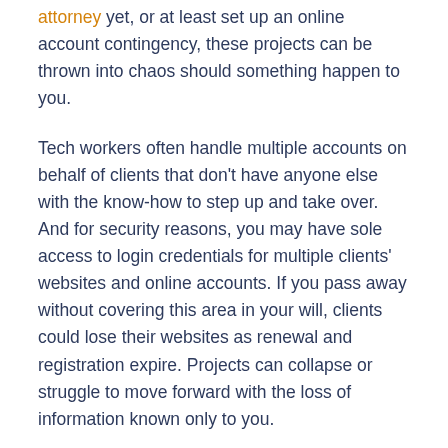attorney yet, or at least set up an online account contingency, these projects can be thrown into chaos should something happen to you.
Tech workers often handle multiple accounts on behalf of clients that don't have anyone else with the know-how to step up and take over. And for security reasons, you may have sole access to login credentials for multiple clients' websites and online accounts. If you pass away without covering this area in your will, clients could lose their websites as renewal and registration expire. Projects can collapse or struggle to move forward with the loss of information known only to you.
Your partner, kids, property